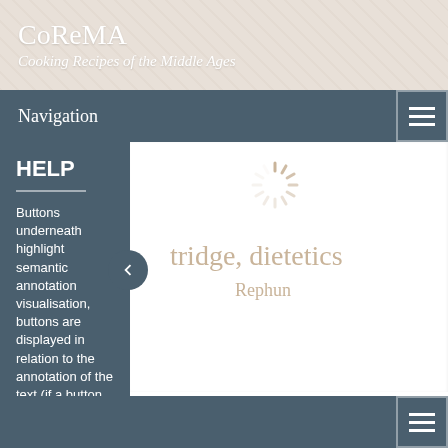CoReMA
Cooking Recipes of the Middle Ages
Navigation
HELP
Buttons underneath highlight semantic annotation visualisation, buttons are displayed in relation to the annotation of the text (if a button is not here, the data
tridge, dietetics
Rephun
[Figure (infographic): Circular loading spinner icon in beige/tan color]